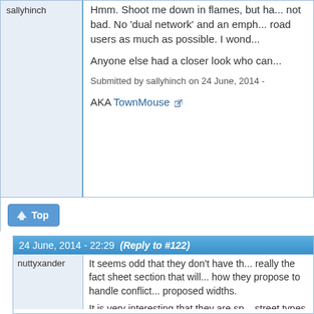sallyhinch
Hmm. Shoot me down in flames, but ha... not bad. No 'dual network' and an emph... road users as much as possible. I wond...
Anyone else had a closer look who can...
Submitted by sallyhinch on 24 June, 2014 -
AKA TownMouse
Top
24 June, 2014 - 22:29   (Reply to #122)
nuttyxander
It seems odd that they don't have th... really the fact sheet section that will... how they propose to handle conflict... proposed widths.
It is very interesting that they are sp... street types - those look about right...